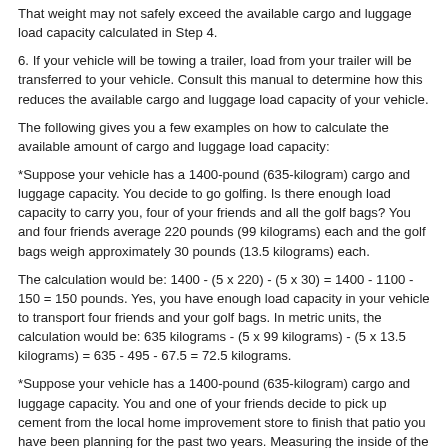That weight may not safely exceed the available cargo and luggage load capacity calculated in Step 4.
6. If your vehicle will be towing a trailer, load from your trailer will be transferred to your vehicle. Consult this manual to determine how this reduces the available cargo and luggage load capacity of your vehicle.
The following gives you a few examples on how to calculate the available amount of cargo and luggage load capacity:
*Suppose your vehicle has a 1400-pound (635-kilogram) cargo and luggage capacity. You decide to go golfing. Is there enough load capacity to carry you, four of your friends and all the golf bags? You and four friends average 220 pounds (99 kilograms) each and the golf bags weigh approximately 30 pounds (13.5 kilograms) each.
The calculation would be: 1400 - (5 x 220) - (5 x 30) = 1400 - 1100 - 150 = 150 pounds. Yes, you have enough load capacity in your vehicle to transport four friends and your golf bags. In metric units, the calculation would be: 635 kilograms - (5 x 99 kilograms) - (5 x 13.5 kilograms) = 635 - 495 - 67.5 = 72.5 kilograms.
*Suppose your vehicle has a 1400-pound (635-kilogram) cargo and luggage capacity. You and one of your friends decide to pick up cement from the local home improvement store to finish that patio you have been planning for the past two years. Measuring the inside of the vehicle with the rear seat folded down, you have room for twelve 100-pound (45-kilogram) bags of cement. Does the cargo and luggage load capacity allow this?